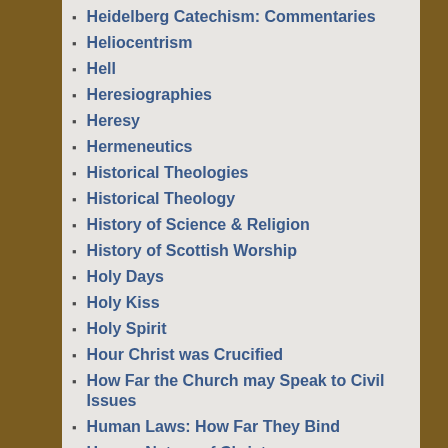Heidelberg Catechism: Commentaries
Heliocentrism
Hell
Heresiographies
Heresy
Hermeneutics
Historical Theologies
Historical Theology
History of Science & Religion
History of Scottish Worship
Holy Days
Holy Kiss
Holy Spirit
Hour Christ was Crucified
How Far the Church may Speak to Civil Issues
Human Laws: How Far They Bind
Human Nature of Christ
Human Traditions
Hyper-Calvinism
Hyper-Preterism
Hypostatic Union
Hypothetical Universalism